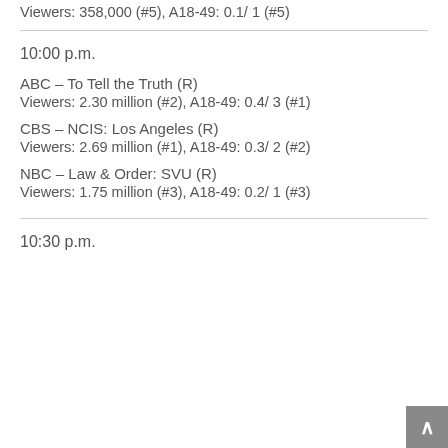Viewers: 358,000 (#5), A18-49: 0.1/ 1 (#5)
10:00 p.m.
ABC – To Tell the Truth (R)
Viewers: 2.30 million (#2), A18-49: 0.4/ 3 (#1)
CBS – NCIS: Los Angeles (R)
Viewers: 2.69 million (#1), A18-49: 0.3/ 2 (#2)
NBC – Law & Order: SVU (R)
Viewers: 1.75 million (#3), A18-49: 0.2/ 1 (#3)
10:30 p.m.